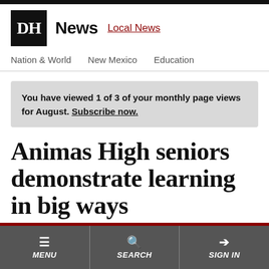DH News | Local News
Nation & World   New Mexico   Education
You have viewed 1 of 3 of your monthly page views for August. Subscribe now.
Animas High seniors demonstrate learning in big ways
MENU   SEARCH   SIGN IN